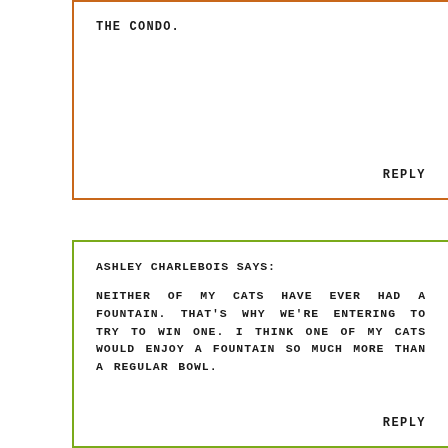THE CONDO.
REPLY
ASHLEY CHARLEBOIS SAYS:
NEITHER OF MY CATS HAVE EVER HAD A FOUNTAIN. THAT'S WHY WE'RE ENTERING TO TRY TO WIN ONE. I THINK ONE OF MY CATS WOULD ENJOY A FOUNTAIN SO MUCH MORE THAN A REGULAR BOWL.
REPLY